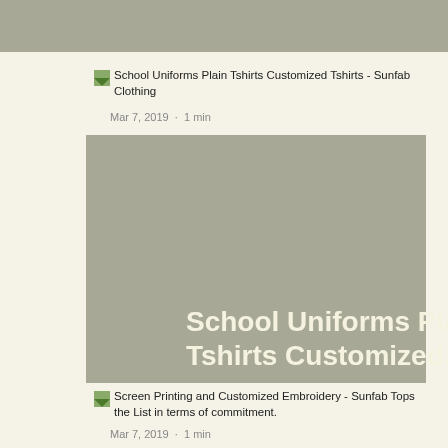[Figure (screenshot): Top grey banner area]
School Uniforms Plain Tshirts Customized Tshirts - Sunfab Clothing
Mar 7, 2019  ·  1 min
[Figure (screenshot): Blog post card with grey background showing bold white text: School Uniforms Plain Tshirts Customized... with view count 106, comment count 0, and heart/like icon]
School Uniforms Plain Tshirts Customized...
106
0
Screen Printing and Customized Embroidery - Sunfab Tops the List in terms of commitment.
Mar 7, 2019  ·  1 min